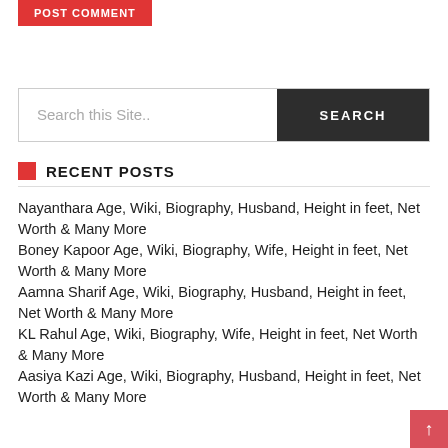POST COMMENT
Search this Site..
RECENT POSTS
Nayanthara Age, Wiki, Biography, Husband, Height in feet, Net Worth & Many More
Boney Kapoor Age, Wiki, Biography, Wife, Height in feet, Net Worth & Many More
Aamna Sharif Age, Wiki, Biography, Husband, Height in feet, Net Worth & Many More
KL Rahul Age, Wiki, Biography, Wife, Height in feet, Net Worth & Many More
Aasiya Kazi Age, Wiki, Biography, Husband, Height in feet, Net Worth & Many More